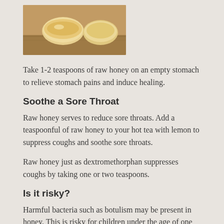[Figure (photo): Photo of biscuits or bread rolls on a wooden surface]
Take 1-2 teaspoons of raw honey on an empty stomach to relieve stomach pains and induce healing.
Soothe a Sore Throat
Raw honey serves to reduce sore throats. Add a teaspoonful of raw honey to your hot tea with lemon to suppress coughs and soothe sore throats.
Raw honey just as dextromethorphan suppresses coughs by taking one or two teaspoons.
Is it risky?
Harmful bacteria such as botulism may be present in honey. This is risky for children under the age of one